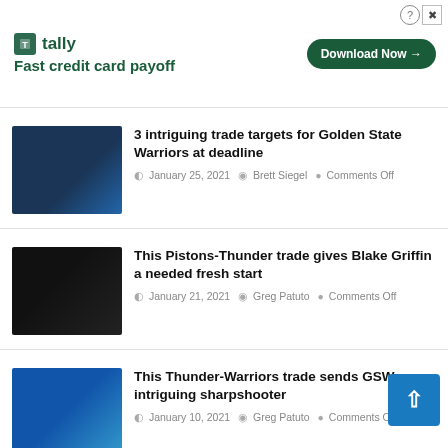[Figure (screenshot): Advertisement banner for Tally app: Fast credit card payoff, with Download Now button]
[Figure (photo): Photo of Stephen Curry in Golden State Warriors uniform]
3 intriguing trade targets for Golden State Warriors at deadline
January 25, 2021  Brett Siegel  Comments Off
[Figure (photo): Photo of Blake Griffin in Detroit Pistons uniform, number 23]
This Pistons-Thunder trade gives Blake Griffin a needed fresh start
January 21, 2021  Greg Patuto  Comments Off
[Figure (photo): Photo of basketball player in blue uniform]
This Thunder-Warriors trade sends GSW intriguing sharpshooter
January 10, 2021  Greg Patuto  Comments Off